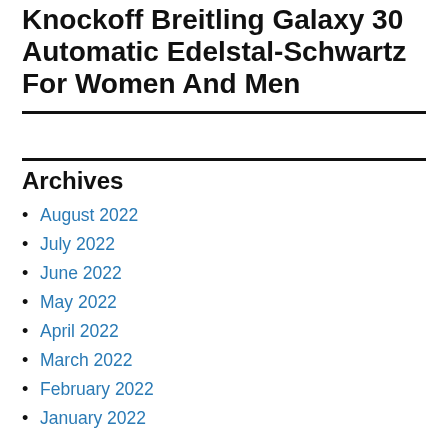Knockoff Breitling Galaxy 30 Automatic Edelstal-Schwartz For Women And Men
Archives
August 2022
July 2022
June 2022
May 2022
April 2022
March 2022
February 2022
January 2022